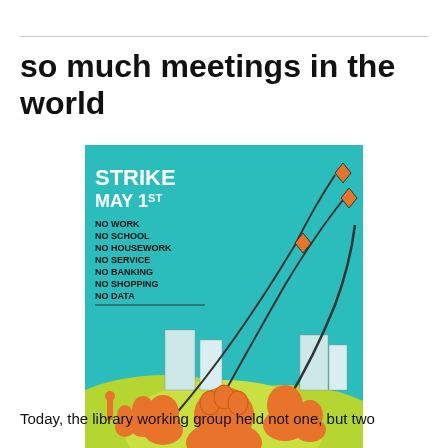so much meetings in the world
[Figure (illustration): Colorful illustration poster reading 'STRIKE MAY 1ST NO WORK NO SCHOOL NO HOUSEWORK NO SERVICE NO BANKING NO SHOPPING NO DATA' with orange figures flying kites against a teal sky, with green hills and city buildings in background.]
Today, the library working group held not one, but two